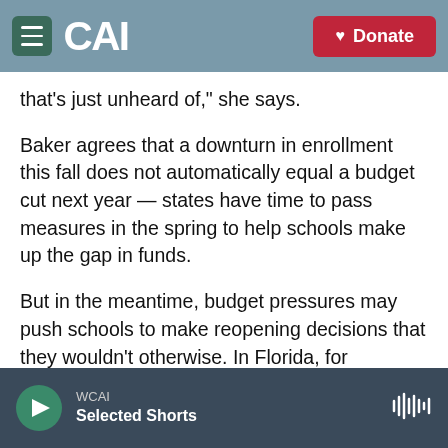CAI | Donate
that's just unheard of," she says.
Baker agrees that a downturn in enrollment this fall does not automatically equal a budget cut next year — states have time to pass measures in the spring to help schools make up the gap in funds.
But in the meantime, budget pressures may push schools to make reopening decisions that they wouldn't otherwise. In Florida, for example, enrollment in Miami-Dade, Broward County and Orange County — all of which are in the top 10 largest districts nationwide — has dropped by
WCAI | Selected Shorts